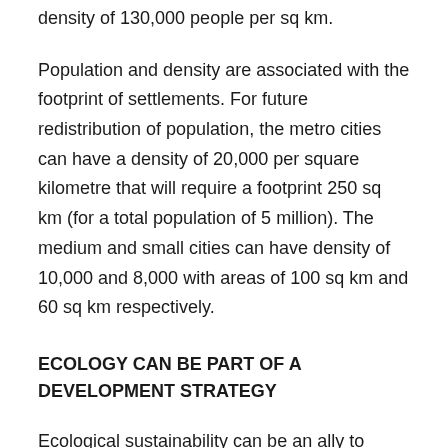density of 130,000 people per sq km.
Population and density are associated with the footprint of settlements. For future redistribution of population, the metro cities can have a density of 20,000 per square kilometre that will require a footprint 250 sq km (for a total population of 5 million). The medium and small cities can have density of 10,000 and 8,000 with areas of 100 sq km and 60 sq km respectively.
ECOLOGY CAN BE PART OF A DEVELOPMENT STRATEGY
Ecological sustainability can be an ally to economic drivers. Despite its small territorial entity, Bangladesh is a land of geographical diversity. While the predominant